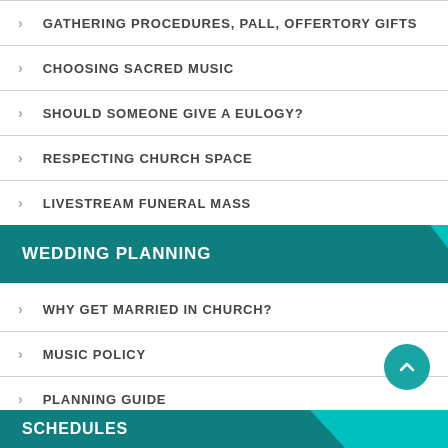GATHERING PROCEDURES, PALL, OFFERTORY GIFTS
CHOOSING SACRED MUSIC
SHOULD SOMEONE GIVE A EULOGY?
RESPECTING CHURCH SPACE
LIVESTREAM FUNERAL MASS
WEDDING PLANNING
WHY GET MARRIED IN CHURCH?
MUSIC POLICY
PLANNING GUIDE
SCHEDULES